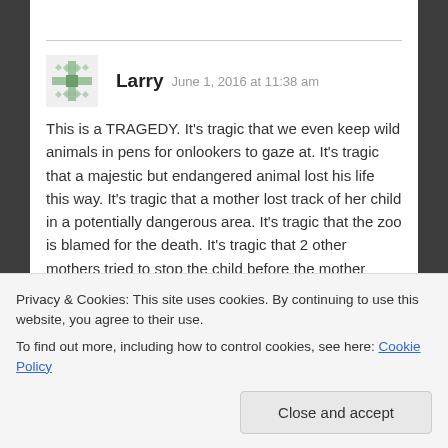Larry  June 1, 2016 at 11:38 am
This is a TRAGEDY. It's tragic that we even keep wild animals in pens for onlookers to gaze at. It's tragic that a majestic but endangered animal lost his life this way. It's tragic that a mother lost track of her child in a potentially dangerous area. It's tragic that the zoo is blamed for the death. It's tragic that 2 other mothers tried to stop the child before the mother even knew the child was missing. It's tragic
Privacy & Cookies: This site uses cookies. By continuing to use this website, you agree to their use.
To find out more, including how to control cookies, see here: Cookie Policy
Close and accept